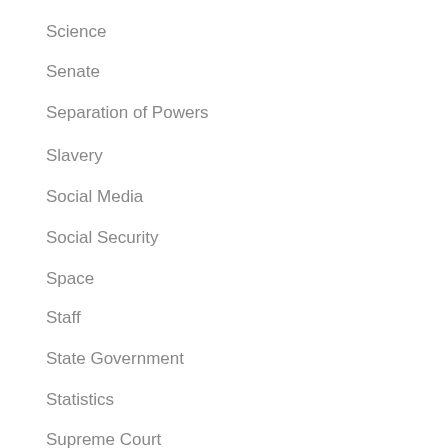Russia
Science
Senate
Separation of Powers
Slavery
Social Media
Social Security
Space
Staff
State Government
Statistics
Supreme Court
Taiwan